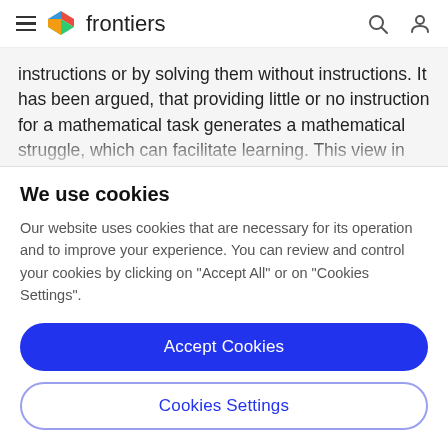frontiers
instructions or by solving them without instructions. It has been argued, that providing little or no instruction for a mathematical task generates a mathematical struggle, which can facilitate learning. This view in contrast, tasks in which routine procedures can be
We use cookies
Our website uses cookies that are necessary for its operation and to improve your experience. You can review and control your cookies by clicking on "Accept All" or on "Cookies Settings".
Accept Cookies
Cookies Settings